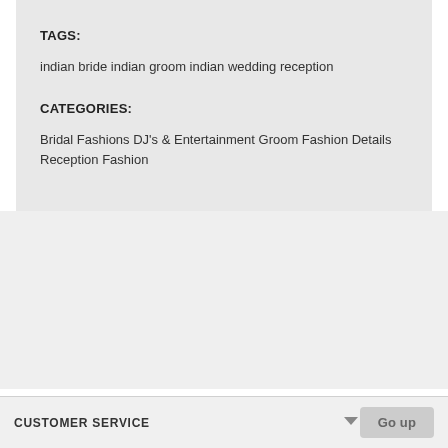TAGS:
indian bride indian groom indian wedding reception
CATEGORIES:
Bridal Fashions DJ's & Entertainment Groom Fashion Details Reception Fashion
CUSTOMER SERVICE   Go up